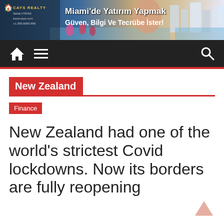[Figure (photo): Cays Realty advertisement banner: Miami real estate ad with woman, beach, and property images. Text: 'CAYS REALTY', 'Selda IYIKAN', 'www.cays.com', '+1.305.6000.959', 'Miami'de Yatırım Yapmak Güven, Bilgi Ve Tecrübe İster!']
Navigation bar with home icon, hamburger menu, and search icon on dark background
New Zealand
Finance
New Zealand had one of the world's strictest Covid lockdowns. Now its borders are fully reopening